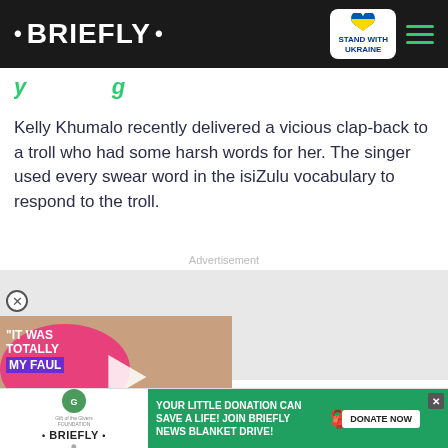• BRIEFLY •
y g
Kelly Khumalo recently delivered a vicious clap-back to a troll who had some harsh words for her. The singer used every swear word in the isiZulu vocabulary to respond to the troll.
Advertisement
[Figure (screenshot): Video thumbnail showing a man in a wheelchair in a suit, with text overlay reading 'IT WAS TOTALLY MY FAULT' on a pink/purple bubble background, and a play button. A red chevron bar is at the bottom right.]
[Figure (infographic): Bottom advertisement banner: Gift of the Givers Foundation and Briefly logos on the left, green background on the right with text 'YOUR LITTLE DONATION CAN SAVE A LIFE! JOIN BRIEFLY NEWS BLANKET DRIVE!' and a DONATE NOW button.]